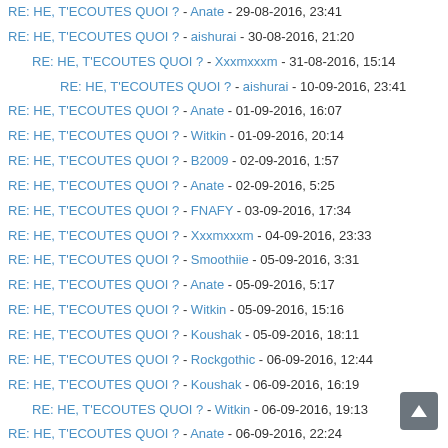RE: HE, T'ECOUTES QUOI ? - Anate - 29-08-2016, 23:41
RE: HE, T'ECOUTES QUOI ? - aishurai - 30-08-2016, 21:20
RE: HE, T'ECOUTES QUOI ? - Xxxmxxxm - 31-08-2016, 15:14
RE: HE, T'ECOUTES QUOI ? - aishurai - 10-09-2016, 23:41
RE: HE, T'ECOUTES QUOI ? - Anate - 01-09-2016, 16:07
RE: HE, T'ECOUTES QUOI ? - Witkin - 01-09-2016, 20:14
RE: HE, T'ECOUTES QUOI ? - B2009 - 02-09-2016, 1:57
RE: HE, T'ECOUTES QUOI ? - Anate - 02-09-2016, 5:25
RE: HE, T'ECOUTES QUOI ? - FNAFY - 03-09-2016, 17:34
RE: HE, T'ECOUTES QUOI ? - Xxxmxxxm - 04-09-2016, 23:33
RE: HE, T'ECOUTES QUOI ? - Smoothiie - 05-09-2016, 3:31
RE: HE, T'ECOUTES QUOI ? - Anate - 05-09-2016, 5:17
RE: HE, T'ECOUTES QUOI ? - Witkin - 05-09-2016, 15:16
RE: HE, T'ECOUTES QUOI ? - Koushak - 05-09-2016, 18:11
RE: HE, T'ECOUTES QUOI ? - Rockgothic - 06-09-2016, 12:44
RE: HE, T'ECOUTES QUOI ? - Koushak - 06-09-2016, 16:19
RE: HE, T'ECOUTES QUOI ? - Witkin - 06-09-2016, 19:13
RE: HE, T'ECOUTES QUOI ? - Anate - 06-09-2016, 22:24
RE: HE, T'ECOUTES QUOI ? - Koushak - 09-09-2016, 17:10
RE: HE, T'ECOUTES QUOI ? - Anate - 09-09-2016, 17:46
RE: HE, T'ECOUTES QUOI ? - Xxxmxxxm - 12-09-2016, 1:01
RE: HE, T'ECOUTES QUOI ? - BrokenWicka - 12-09-2016, 1:08